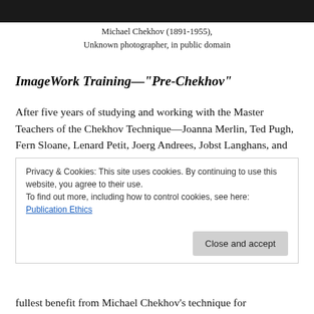[Figure (photo): Top portion of a black and white photograph of Michael Chekhov, cropped at top of page]
Michael Chekhov (1891-1955),
Unknown photographer, in public domain
ImageWork Training—“Pre-Chekhov”
After five years of studying and working with the Master Teachers of the Chekhov Technique—Joanna Merlin, Ted Pugh, Fern Sloane, Lenard Petit, Joerg Andrees, Jobst Langhans, and the late Mala Powers and Jack Colvin, my ImageWork Training finally evolved into its present form as a highly detailed and comprehensive form of actor training. Concentrating on the creativity/improvisation
fullest benefit from Michael Chekhov’s technique for